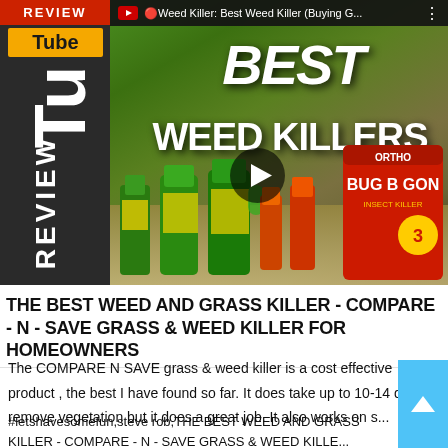[Figure (screenshot): YouTube video thumbnail showing weed killer products with text 'BEST WEED KILLERS' overlaid on a background of lawn care products (green weed killer bottles and an orange bug killer bag). A REVIEW badge and YouTube tube logo appear on the left side. A play button is visible in the center.]
THE BEST WEED AND GRASS KILLER - COMPARE - N - SAVE GRASS & WEED KILLER FOR HOMEOWNERS
The COMPARE N SAVE grass & weed killer is a cost effective product , the best I have found so far. It does take up to 10-14 days to remove vegetation but it does a great job. It also works on s...
#letshavesomefun,steve rob,THE BEST WEED AND GRASS KILLER - COMPARE - N - SAVE GRASS & WEED KILLE...